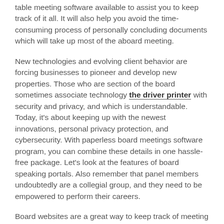table meeting software available to assist you to keep track of it all. It will also help you avoid the time-consuming process of personally concluding documents which will take up most of the aboard meeting.
New technologies and evolving client behavior are forcing businesses to pioneer and develop new properties. Those who are section of the board sometimes associate technology the driver printer with security and privacy, and which is understandable. Today, it's about keeping up with the newest innovations, personal privacy protection, and cybersecurity. With paperless board meetings software program, you can combine these details in one hassle-free package. Let's look at the features of board speaking portals. Also remember that panel members undoubtedly are a collegial group, and they need to be empowered to perform their careers.
Board websites are a great way to keep track of meeting data and make sure they are more accessible to board customers. Using a board portal will let you keep conference records designed for all customers, both online and offline. With a mother board communications webpages, you can easily take care of your meeting records. You can ability to without difficulty access all of the files coming from anywhere, you will discover that your paperwork is easier than ever before. Whether to get running a online business or a significant corporation, table meetings